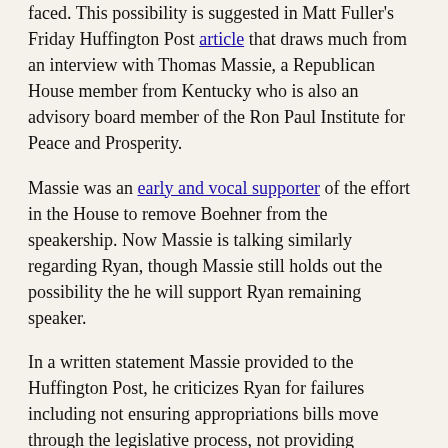faced. This possibility is suggested in Matt Fuller's Friday Huffington Post article that draws much from an interview with Thomas Massie, a Republican House member from Kentucky who is also an advisory board member of the Ron Paul Institute for Peace and Prosperity.
Massie was an early and vocal supporter of the effort in the House to remove Boehner from the speakership. Now Massie is talking similarly regarding Ryan, though Massie still holds out the possibility the he will support Ryan remaining speaker.
In a written statement Massie provided to the Huffington Post, he criticizes Ryan for failures including not ensuring appropriations bills move through the legislative process, not providing members with adequate time to read bills before voting on them, and not enabling debate and vote in the House regarding President Barack Obama's unilateral engagement of the United States in military conflicts “around the globe.” From a phone conversation with the Huffington Post, Massie is quoted as providing an additional reason he is critical of Ryan remaining in the speaker role. Says Massie, “It would be very difficult for [Ryan] to get my vote based on what I assume his motives are, which are to run for president in 2020,”
Like the House revolt against Boehner, a revolt against Ryan can